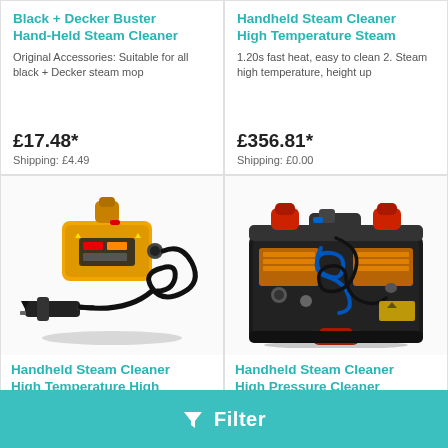Black + Decker Buster Hand-Held Steam Cleaner
Original Accessories: Suitable for all black + Decker steam mop
£17.48*
Shipping: £4.49
Handheld Steam Cleaner High Temperature Steam
1.20s fast heat, easy to clean 2. Steam high temperature, height up
£356.81*
Shipping: £0.00
[Figure (photo): Yellow handheld steam cleaner with black hose and spray gun attachment]
Handheld Steam Cleaner High Temperature High
Steam pipe length:2.5M Power
[Figure (photo): Black portable steam cleaner kit in a carrying case with red handles, blue hoses and a gun attachment]
Handheld Steam Cleaner High Pressure Cleaner
Range of hot and cold water: 12M
Filter